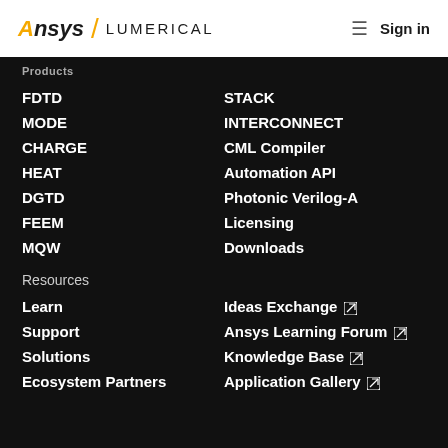Ansys / LUMERICAL — Sign in
Products
FDTD
MODE
CHARGE
HEAT
DGTD
FEEM
MQW
STACK
INTERCONNECT
CML Compiler
Automation API
Photonic Verilog-A
Licensing
Downloads
Resources
Learn
Support
Solutions
Ecosystem Partners
Ideas Exchange
Ansys Learning Forum
Knowledge Base
Application Gallery